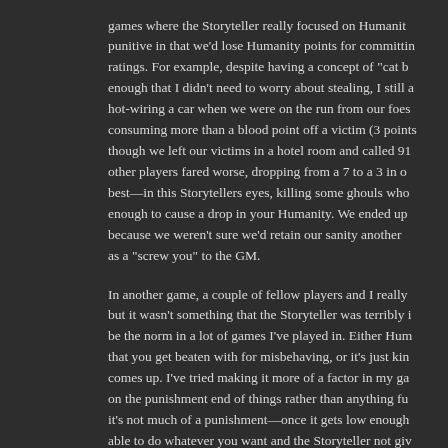games where the Storyteller really focused on Humanity, punitive in that we'd lose Humanity points for committing ratings. For example, despite having a concept of "cat b enough that I didn't need to worry about stealing, I still a hot-wiring a car when we were on the run from our foes consuming more than a blood point off a victim (3 points though we left our victims in a hotel room and called 91 other players fared worse, dropping from a 7 to a 3 in o best—in this Storytellers eyes, killing some ghouls who enough to cause a drop in your Humanity. We ended up because we weren't sure we'd retain our sanity another as a "screw you" to the GM.
In another game, a couple of fellow players and I really but it wasn't something that the Storyteller was terribly i be the norm in a lot of games I've played in. Either Hun that you get beaten with for misbehaving, or it's just kin comes up. I've tried making it more of a factor in my ga on the punishment end of things rather than anything fu it's not much of a punishment—once it gets low enough able to do whatever you want and the Storyteller not giv The only downside is when you have to wake up or do s even then, if you have to make those rolls, you're proba And I've certainly never seen anyone actually spend XP
As such, I've sort of come up with my own way of using